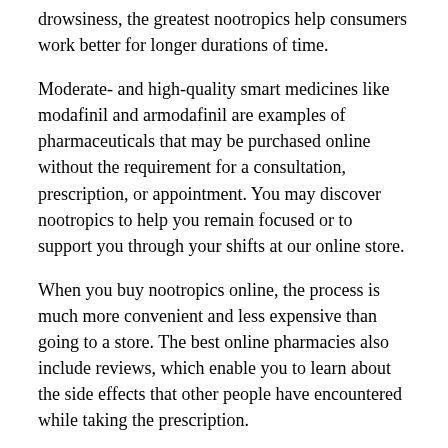drowsiness, the greatest nootropics help consumers work better for longer durations of time.
Moderate- and high-quality smart medicines like modafinil and armodafinil are examples of pharmaceuticals that may be purchased online without the requirement for a consultation, prescription, or appointment. You may discover nootropics to help you remain focused or to support you through your shifts at our online store.
When you buy nootropics online, the process is much more convenient and less expensive than going to a store. The best online pharmacies also include reviews, which enable you to learn about the side effects that other people have encountered while taking the prescription.
[Figure (other): Partial view of a bordered box at the bottom of the page]